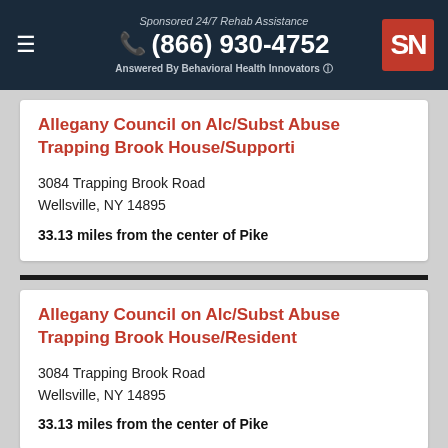Sponsored 24/7 Rehab Assistance | (866) 930-4752 | Answered By Behavioral Health Innovators
Allegany Council on Alc/Subst Abuse Trapping Brook House/Supporti
3084 Trapping Brook Road
Wellsville, NY 14895
33.13 miles from the center of Pike
Allegany Council on Alc/Subst Abuse Trapping Brook House/Resident
3084 Trapping Brook Road
Wellsville, NY 14895
33.13 miles from the center of Pike